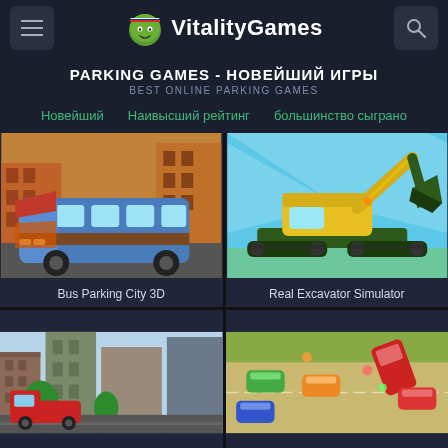VitalityGames
PARKING GAMES - НОВЕЙШИЙ ИГРЫ
BEST ONLINE PARKING GAMES
Новейший
Наивысший рейтинг
большинство сыграно
[Figure (screenshot): Bus Parking City 3D game thumbnail - cartoon bus on city street]
Bus Parking City 3D
[Figure (screenshot): Real Excavator Simulator game thumbnail - yellow excavator on blue background]
Real Excavator Simulator
[Figure (screenshot): Game thumbnail - city street with red vehicle]
[Figure (screenshot): Game thumbnail - top-down view of colorful cars on parking lot]